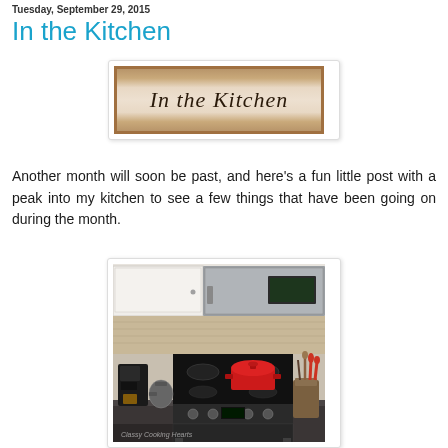Tuesday, September 29, 2015
In the Kitchen
[Figure (illustration): Decorative banner image with mosaic/tile border and cursive text reading 'In the Kitchen']
Another month will soon be past, and here's a fun little post with a peak into my kitchen to see a few things that have been going on during the month.
[Figure (photo): Photo of a kitchen showing a black electric stove with a red Dutch oven pot on a burner, a stainless steel over-the-range microwave, white cabinets, a coffee maker and kettle on the left counter, and a container of cooking utensils on the right counter.]